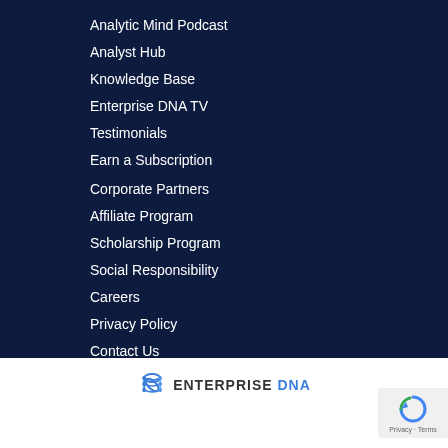Analytic Mind Podcast
Analyst Hub
Knowledge Base
Enterprise DNA TV
Testimonials
Earn a Subscription
Corporate Partners
Affiliate Program
Scholarship Program
Social Responsibility
Careers
Privacy Policy
Contact Us
[Figure (logo): Enterprise DNA logo with DNA helix icon and text ENTERPRISE DNA in blue and dark grey]